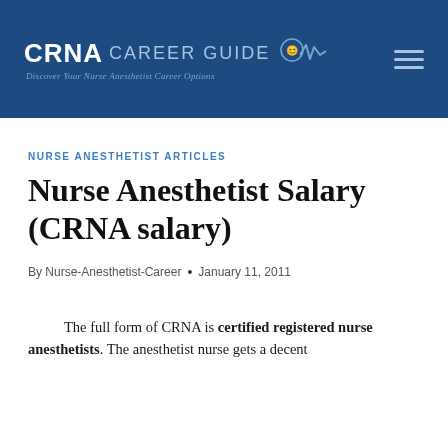CRNA CAREER GUIDE — Discover Your Nurse Anesthetist Career Options
NURSE ANESTHETIST ARTICLES
Nurse Anesthetist Salary (CRNA salary)
By Nurse-Anesthetist-Career  •  January 11, 2011
The full form of CRNA is certified registered nurse anesthetists. The anesthetist nurse gets a decent